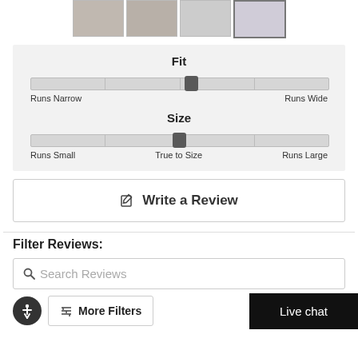[Figure (photo): Four product thumbnail images of shoes in a horizontal strip]
[Figure (infographic): Fit slider panel with track showing position between Runs Narrow and Runs Wide, thumb near center-right]
[Figure (infographic): Size slider panel with track showing position at True to Size center, thumb at center]
Write a Review
Filter Reviews:
Search Reviews
More Filters
Live chat